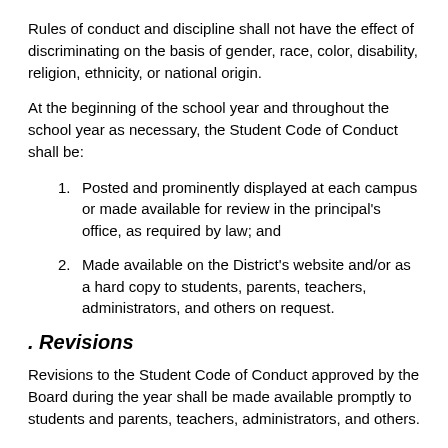Rules of conduct and discipline shall not have the effect of discriminating on the basis of gender, race, color, disability, religion, ethnicity, or national origin.
At the beginning of the school year and throughout the school year as necessary, the Student Code of Conduct shall be:
Posted and prominently displayed at each campus or made available for review in the principal's office, as required by law; and
Made available on the District's website and/or as a hard copy to students, parents, teachers, administrators, and others on request.
. Revisions
Revisions to the Student Code of Conduct approved by the Board during the year shall be made available promptly to students and parents, teachers, administrators, and others.